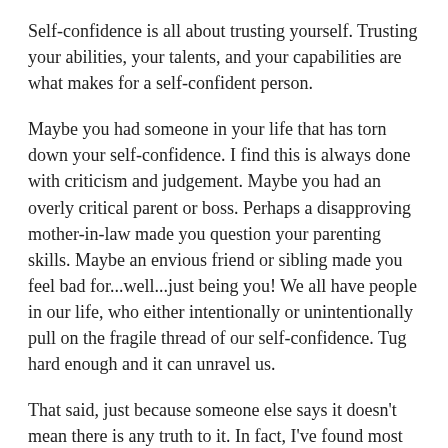Self-confidence is all about trusting yourself. Trusting your abilities, your talents, and your capabilities are what makes for a self-confident person.
Maybe you had someone in your life that has torn down your self-confidence. I find this is always done with criticism and judgement. Maybe you had an overly critical parent or boss. Perhaps a disapproving mother-in-law made you question your parenting skills. Maybe an envious friend or sibling made you feel bad for...well...just being you! We all have people in our life, who either intentionally or unintentionally pull on the fragile thread of our self-confidence. Tug hard enough and it can unravel us.
That said, just because someone else says it doesn't mean there is any truth to it. In fact, I've found most criticism comes from a place of jealousy and the other person's insecurity. A big part of building self-confidence is simply not giving a %&#@ about